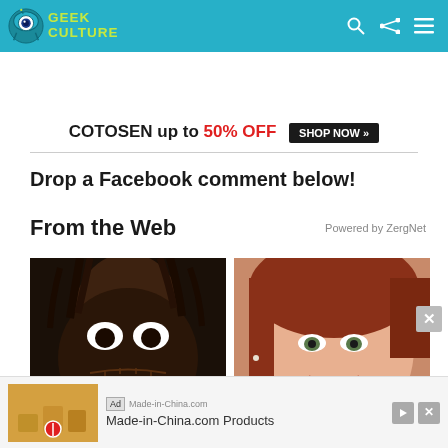Geek Culture
[Figure (infographic): Advertisement banner: COTOSEN up to 50% OFF with SHOP NOW button]
Drop a Facebook comment below!
From the Web
Powered by ZergNet
[Figure (photo): Creepy face with dreadlocks and spooky white eyes makeup]
[Figure (photo): Woman with auburn hair smiling at camera]
[Figure (infographic): Bottom advertisement: Made-in-China.com Products]